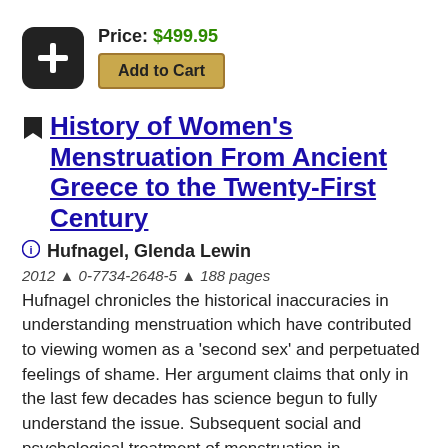Price: $499.95
Add to Cart
History of Women's Menstruation From Ancient Greece to the Twenty-First Century
Hufnagel, Glenda Lewin
2012 ^ 0-7734-2648-5 ^ 188 pages
Hufnagel chronicles the historical inaccuracies in understanding menstruation which have contributed to viewing women as a 'second sex' and perpetuated feelings of shame. Her argument claims that only in the last few decades has science begun to fully understand the issue. Subsequent social and psychological treatment of menstruation in